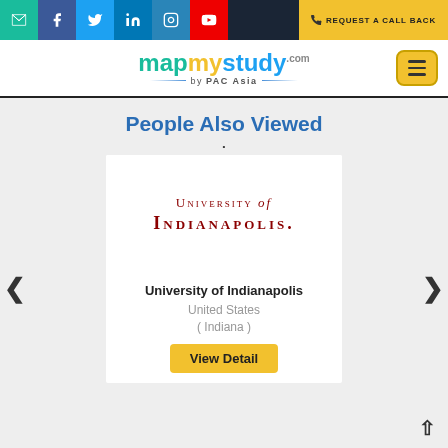[Figure (screenshot): Website top navigation bar with social media icons (email, Facebook, Twitter, LinkedIn, Instagram, YouTube) and a 'Request a Call Back' button]
[Figure (logo): MapMyStudy by PAC Asia logo with colorful text and hamburger menu button]
People Also Viewed
[Figure (logo): University of Indianapolis logo — red serif text reading 'UNIVERSITY of INDIANAPOLIS.']
University of Indianapolis
United States
( Indiana )
View Detail